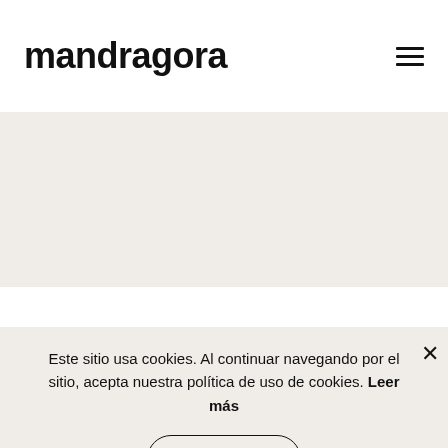mandragora
[Figure (other): Hamburger menu icon with three horizontal lines]
[Figure (other): Large hero/banner section with light beige/off-white background, no visible content]
Este sitio usa cookies. Al continuar navegando por el sitio, acepta nuestra política de uso de cookies. Leer más
Aceptar